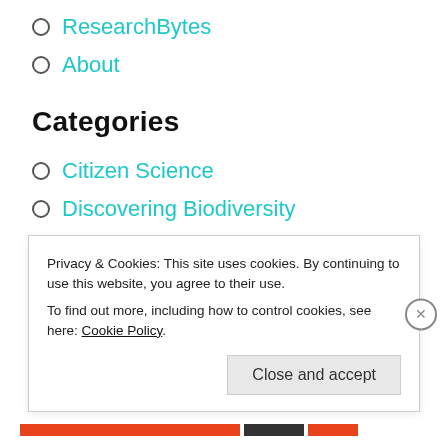ResearchBytes
About
Categories
Citizen Science
Discovering Biodiversity
Extinction
in the media
Liveable Futures
Privacy & Cookies: This site uses cookies. By continuing to use this website, you agree to their use. To find out more, including how to control cookies, see here: Cookie Policy